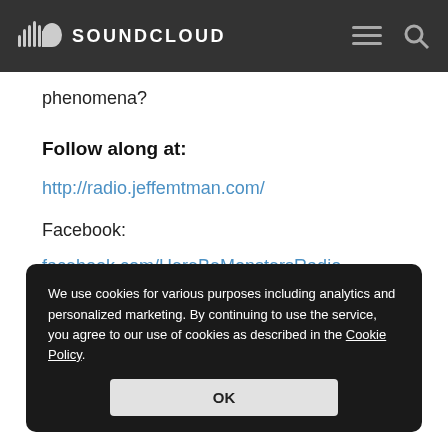SOUNDCLOUD
phenomena?
Follow along at:
http://radio.jeffemtman.com/
Facebook:
facebook.com/HereBeMonstersRadio
Pop Up Archive
We use cookies for various purposes including analytics and personalized marketing. By continuing to use the service, you agree to our use of cookies as described in the Cookie Policy.